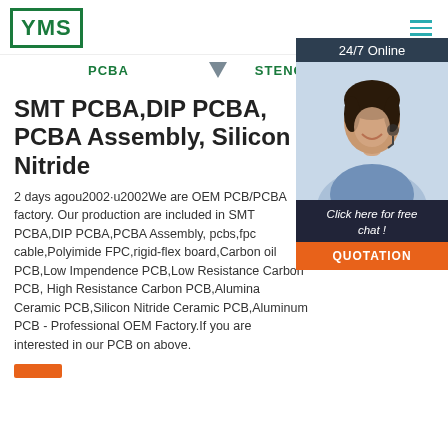YMS
PCBA
STENCIL
24/7 Online
[Figure (photo): Customer service representative woman with headset smiling]
Click here for free chat !
QUOTATION
SMT PCBA,DIP PCBA, PCBA Assembly, Silicon Nitride
2 days agou2002·u2002We are OEM PCB/PCBA factory. Our production are included in SMT PCBA,DIP PCBA,PCBA Assembly, pcbs,fpc cable,Polyimide FPC,rigid-flex board,Carbon oil PCB,Low Impendence PCB,Low Resistance Carbon PCB, High Resistance Carbon PCB,Alumina Ceramic PCB,Silicon Nitride Ceramic PCB,Aluminum PCB - Professional OEM Factory.If you are interested in our PCB on above.
Read more (button)